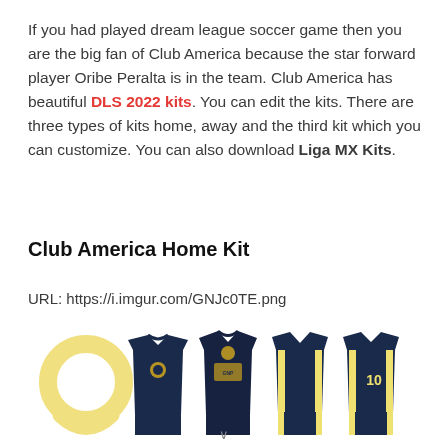If you had played dream league soccer game then you are the big fan of Club America because the star forward player Oribe Peralta is in the team. Club America has beautiful DLS 2022 kits. You can edit the kits. There are three types of kits home, away and the third kit which you can customize. You can also download Liga MX Kits.
Club America Home Kit
URL: https://i.imgur.com/GNJc0TE.png
[Figure (photo): Club America Home Kit showing multiple views of dark navy blue and yellow soccer uniforms including front, back and side views, plus a yellow circular logo/emblem on the left.]